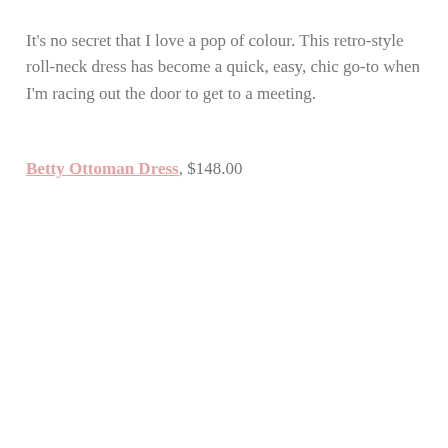It's no secret that I love a pop of colour. This retro-style roll-neck dress has become a quick, easy, chic go-to when I'm racing out the door to get to a meeting.
Betty Ottoman Dress, $148.00